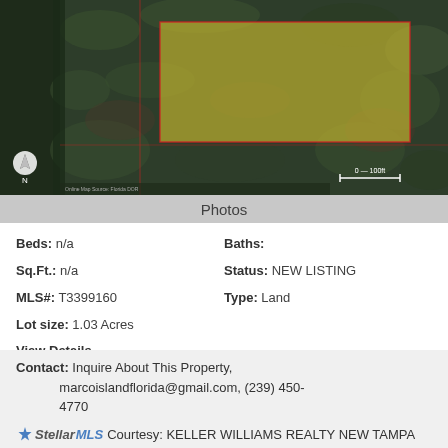[Figure (photo): Aerial satellite view of a 1.03 acre land parcel surrounded by trees, with a yellow-highlighted rectangular area indicating the property boundary. Red boundary lines visible. North arrow and scale bar in lower left and lower right.]
Photos
Beds: n/a
Baths:
Sq.Ft.: n/a
Status: NEW LISTING
MLS#: T3399160
Type: Land
Lot size: 1.03 Acres
View Details
Contact: Inquire About This Property, marcoislandflorida@gmail.com, (239) 450-4770
Stellar MLS Courtesy: KELLER WILLIAMS REALTY NEW TAMPA